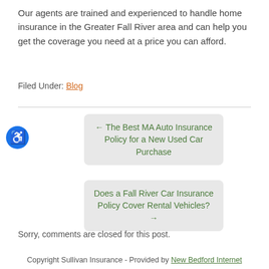Our agents are trained and experienced to handle home insurance in the Greater Fall River area and can help you get the coverage you need at a price you can afford.
Filed Under: Blog
← The Best MA Auto Insurance Policy for a New Used Car Purchase
Does a Fall River Car Insurance Policy Cover Rental Vehicles? →
Sorry, comments are closed for this post.
Copyright Sullivan Insurance - Provided by New Bedford Internet